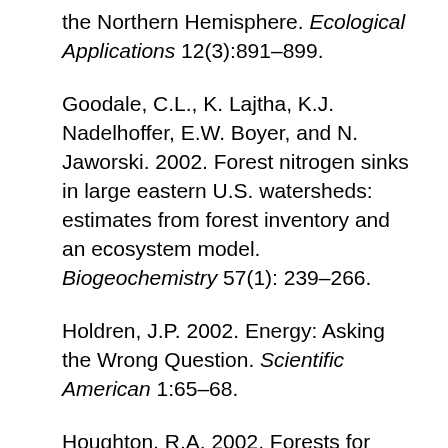the Northern Hemisphere. Ecological Applications 12(3):891–899.
Goodale, C.L., K. Lajtha, K.J. Nadelhoffer, E.W. Boyer, and N. Jaworski. 2002. Forest nitrogen sinks in large eastern U.S. watersheds: estimates from forest inventory and an ecosystem model. Biogeochemistry 57(1): 239–266.
Holdren, J.P. 2002. Energy: Asking the Wrong Question. Scientific American 1:65–68.
Houghton, R.A. 2002. Forests for carbon storage. Global Change 7(4):12–13.